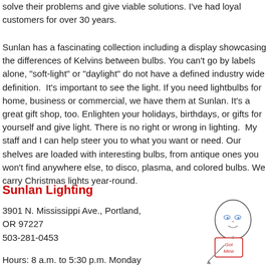solve their problems and give viable solutions. I've had loyal customers for over 30 years.
Sunlan has a fascinating collection including a display showcasing the differences of Kelvins between bulbs. You can't go by labels alone, "soft-light" or "daylight" do not have a defined industry wide definition.  It's important to see the light. If you need lightbulbs for home, business or commercial, we have them at Sunlan. It's a great gift shop, too. Enlighten your holidays, birthdays, or gifts for yourself and give light. There is no right or wrong in lighting.  My staff and I can help steer you to what you want or need. Our shelves are loaded with interesting bulbs, from antique ones you won't find anywhere else, to disco, plasma, and colored bulbs. We carry Christmas lights year-round.
Sunlan Lighting
3901 N. Mississippi Ave., Portland,
OR 97227
503-281-0453
Hours: 8 a.m. to 5:30 p.m. Monday
[Figure (illustration): Hand-drawn illustration of a round-headed cartoon figure holding a sign that reads 'Got Mine']